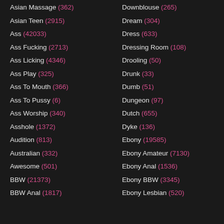Asian Massage (362)
Asian Teen (2915)
Ass (42033)
Ass Fucking (2713)
Ass Licking (4346)
Ass Play (325)
Ass To Mouth (366)
Ass To Pussy (6)
Ass Worship (340)
Asshole (1372)
Audition (813)
Australian (332)
Awesome (501)
BBW (21373)
BBW Anal (1817)
Downblouse (265)
Dream (304)
Dress (633)
Dressing Room (108)
Drooling (50)
Drunk (33)
Dumb (51)
Dungeon (97)
Dutch (655)
Dyke (136)
Ebony (19585)
Ebony Amateur (7130)
Ebony Anal (1536)
Ebony BBW (3345)
Ebony Lesbian (520)